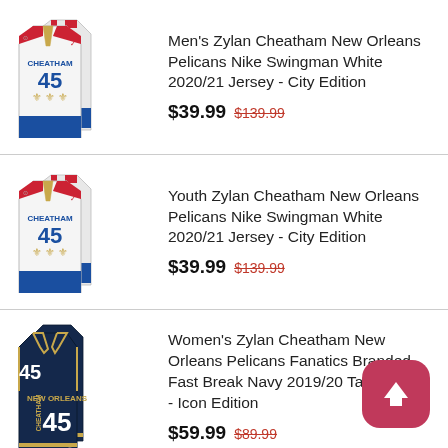[Figure (photo): Men's Zylan Cheatham #45 New Orleans Pelicans white City Edition Nike Swingman jersey product image]
Men's Zylan Cheatham New Orleans Pelicans Nike Swingman White 2020/21 Jersey - City Edition $39.99 $139.99
[Figure (photo): Youth Zylan Cheatham #45 New Orleans Pelicans white City Edition Nike Swingman jersey product image]
Youth Zylan Cheatham New Orleans Pelicans Nike Swingman White 2020/21 Jersey - City Edition $39.99 $139.99
[Figure (photo): Women's Zylan Cheatham #45 New Orleans Pelicans navy Fanatics Branded Fast Break tank jersey product image]
Women's Zylan Cheatham New Orleans Pelicans Fanatics Branded Fast Break Navy 2019/20 Tank Jersey - Icon Edition $59.99 $89.99